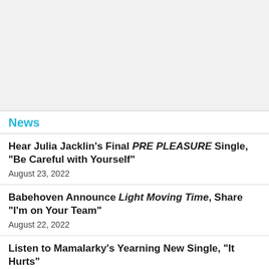[Figure (other): Gray advertisement banner placeholder area]
News
Hear Julia Jacklin's Final PRE PLEASURE Single, "Be Careful with Yourself"
August 23, 2022
Babehoven Announce Light Moving Time, Share "I'm on Your Team"
August 22, 2022
Listen to Mamalarky's Yearning New Single, "It Hurts"